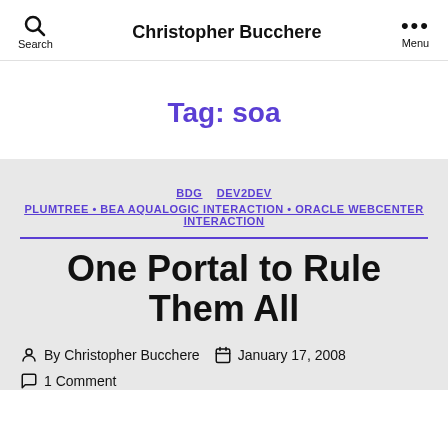Christopher Bucchere
Tag: soa
BDG  DEV2DEV
PLUMTREE • BEA AQUALOGIC INTERACTION • ORACLE WEBCENTER INTERACTION
One Portal to Rule Them All
By Christopher Bucchere  January 17, 2008
1 Comment